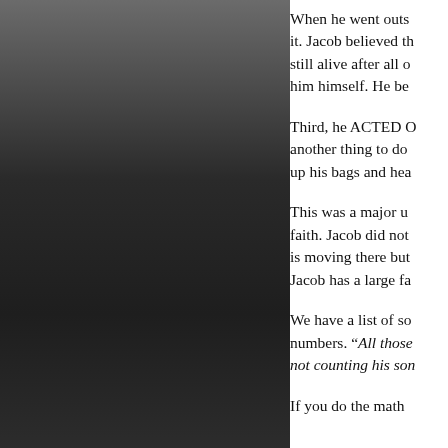[Figure (photo): Dark gradient panel occupying the left portion of the page, transitioning from dark gray at top to near black in the middle and slightly lighter at the bottom.]
When he went outs it. Jacob believed th still alive after all o him himself. He be Third, he ACTED O another thing to do up his bags and hea This was a major u faith. Jacob did not is moving there but Jacob has a large fa We have a list of so numbers. “All those not counting his son If you do the math